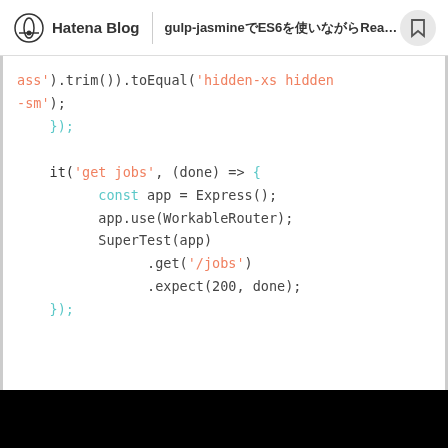Hatena Blog | gulp-jasmine ES6 React...
[Figure (screenshot): Code snippet showing JavaScript test code with colored syntax highlighting. Contains a .trim().toEqual('hidden-xs hidden-sm') assertion and an it('get jobs') test block using Express, WorkableRouter, and SuperTest.]